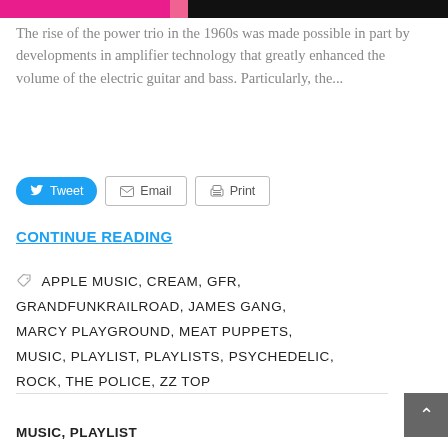[Figure (photo): Cropped image strip at top of page showing colorful band/music imagery in pink, magenta and dark tones]
The rise of the power trio in the 1960s was made possible in part by developments in amplifier technology that greatly enhanced the volume of the electric guitar and bass. Particularly, the...
Tweet  Email  Print
CONTINUE READING
APPLE MUSIC, CREAM, GFR, GRANDFUNKRAILROAD, JAMES GANG, MARCY PLAYGROUND, MEAT PUPPETS, MUSIC, PLAYLIST, PLAYLISTS, PSYCHEDELIC, ROCK, THE POLICE, ZZ TOP
MUSIC, PLAYLIST